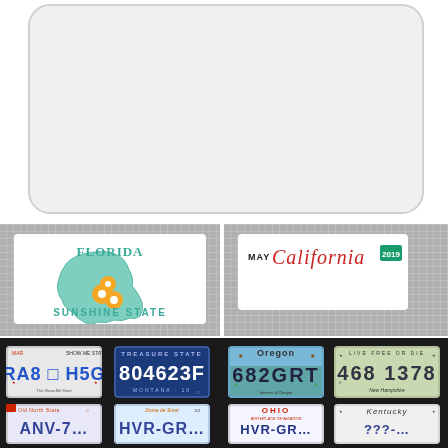[Figure (illustration): Large rounded rectangle placeholder/frame at top of page, light gray with border]
[Figure (illustration): Florida Sunshine State license plate on checkered gray background]
[Figure (illustration): California license plate with MAY tab and 2019 sticker on checkered gray background]
[Figure (illustration): Grid of US state license plates: Missouri RA8 H5G, Montana 804623F, Oregon 682 GRT, New Hampshire 468 1378 in top row; Old North State, Denver de Smet, Ohio, Kentucky in bottom row (partially visible)]